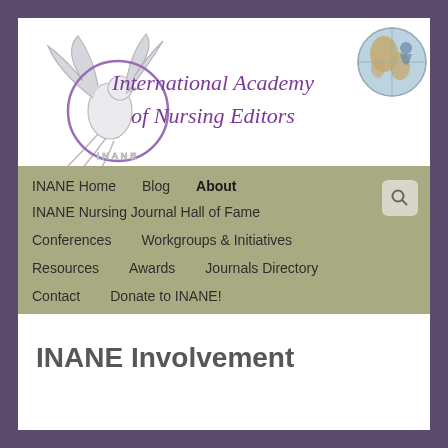[Figure (logo): INANE logo with phoenix bird and globe, with cursive text 'International Academy of Nursing Editors']
INANE Home
Blog
About
INANE Nursing Journal Hall of Fame
Conferences
Workgroups & Initiatives
Resources
Awards
Journals Directory
Contact
Donate to INANE!
INANE Involvement